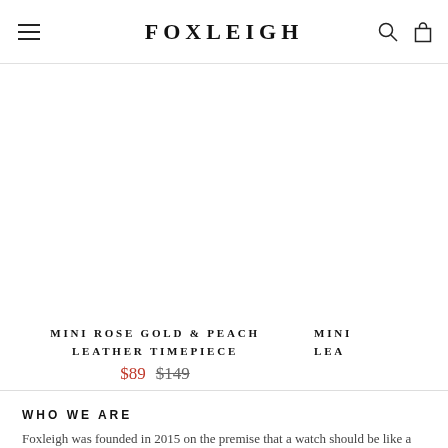FOXLEIGH
[Figure (screenshot): Product listing for MINI ROSE GOLD & PEACH LEATHER TIMEPIECE showing partial product images on an e-commerce page with slider dots]
MINI ROSE GOLD & PEACH LEATHER TIMEPIECE
$89  $149
MINI LEA
WHO WE ARE
Foxleigh was founded in 2015 on the premise that a watch should be like a pair of shoes - matched to your outfit. So we